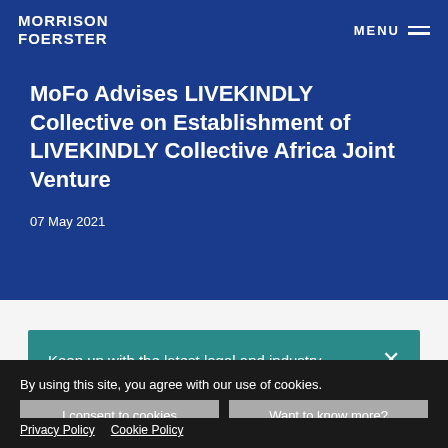MORRISON FOERSTER | MENU
MoFo Advises LIVEKINDLY Collective on Establishment of LIVEKINDLY Collective Africa Joint Venture
07 May 2021
Keep up with the latest legal and industry
By using this site, you agree with our use of cookies.
I consent to cookies
Want to know more?
Privacy Policy
Cookie Policy